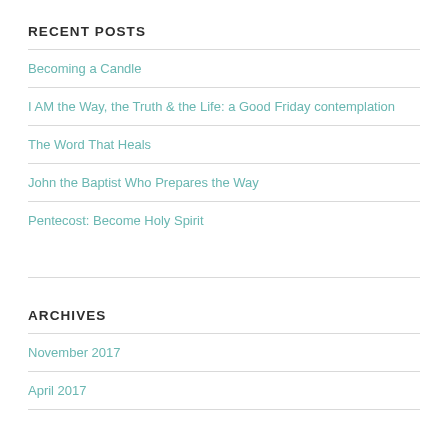RECENT POSTS
Becoming a Candle
I AM the Way, the Truth & the Life: a Good Friday contemplation
The Word That Heals
John the Baptist Who Prepares the Way
Pentecost: Become Holy Spirit
ARCHIVES
November 2017
April 2017